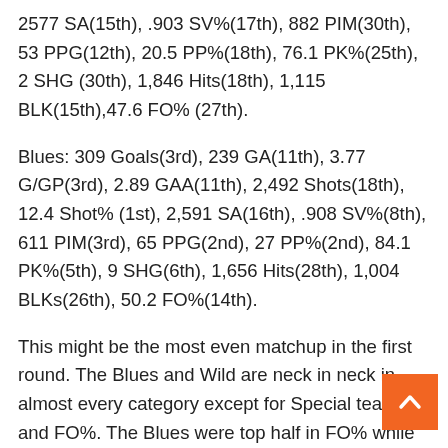2577 SA(15th), .903 SV%(17th), 882 PIM(30th), 53 PPG(12th), 20.5 PP%(18th), 76.1 PK%(25th), 2 SHG (30th), 1,846 Hits(18th), 1,115 BLK(15th),47.6 FO% (27th).
Blues: 309 Goals(3rd), 239 GA(11th), 3.77 G/GP(3rd), 2.89 GAA(11th), 2,492 Shots(18th), 12.4 Shot% (1st), 2,591 SA(16th), .908 SV%(8th), 611 PIM(3rd), 65 PPG(2nd), 27 PP%(2nd), 84.1 PK%(5th), 9 SHG(6th), 1,656 Hits(28th), 1,004 BLKs(26th), 50.2 FO%(14th).
This might be the most even matchup in the first round. The Blues and Wild are neck in neck in almost every category except for Special teams and FO%. The Blues were top half in FO% while the Wild ranked in the bottom six. The Blues were the only team in the NHL to be ranked in the top 5 on both the Power play and penalty kill which should be scary for a Wild team that